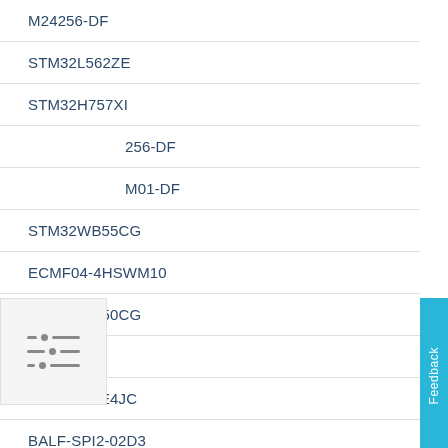M24256-DF
STM32L562ZE
STM32H757XI
256-DF
M01-DF
STM32WB55CG
ECMF04-4HSWM10
STM32WB50CG
L6565
STM32WLE4JC
BALF-SPI2-02D3
MLPF-WB55-02E3